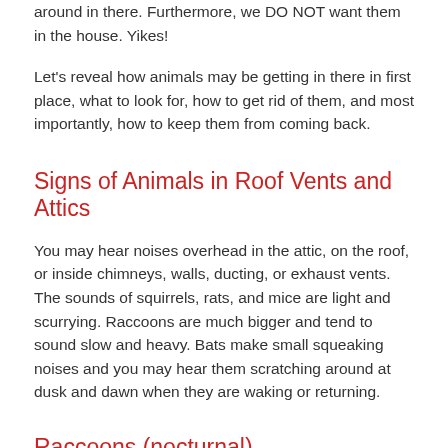around in there. Furthermore, we DO NOT want them in the house. Yikes!
Let's reveal how animals may be getting in there in first place, what to look for, how to get rid of them, and most importantly, how to keep them from coming back.
Signs of Animals in Roof Vents and Attics
You may hear noises overhead in the attic, on the roof, or inside chimneys, walls, ducting, or exhaust vents. The sounds of squirrels, rats, and mice are light and scurrying. Raccoons are much bigger and tend to sound slow and heavy. Bats make small squeaking noises and you may hear them scratching around at dusk and dawn when they are waking or returning.
Raccoons (nocturnal)
Raccoons will typically invade your house looking for a warm safe shelter to have their babies. So, not only will you have adult raccoons, you could be hosting an entire family of them. Not good. Raccoons can rip the shingles right off your roof and pry up the